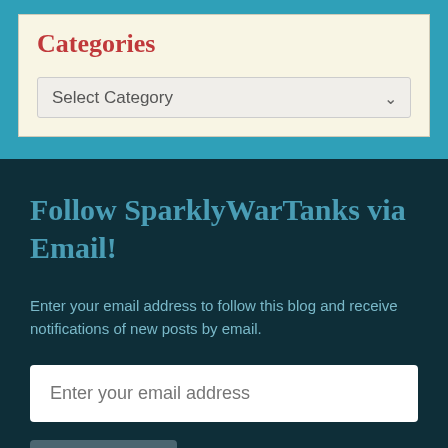Categories
[Figure (screenshot): A dropdown selector with label 'Select Category' and a chevron arrow on the right]
Follow SparklyWarTanks via Email!
Enter your email address to follow this blog and receive notifications of new posts by email.
[Figure (screenshot): Email input field with placeholder 'Enter your email address' and a FOLLOW button below]